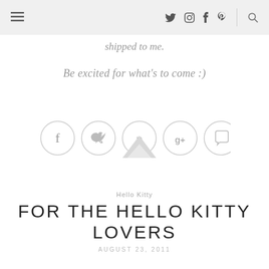≡  ♦ ▣ f p  🔍
shipped to me.
Be excited for what's to come :)
[Figure (infographic): Five social sharing buttons in circles: Facebook (f), Twitter (bird), Pinterest (p with mountain graphic overlay), Google+ (g+), Comment (speech bubble)]
Hello Kitty
FOR THE HELLO KITTY LOVERS
AUGUST 23, 2011